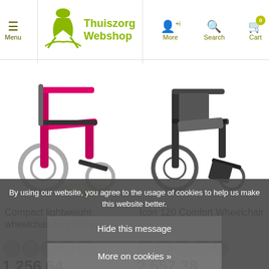Menu | Thuiszorg Webshop | More | Search | Cart 0
[Figure (photo): Pink compact lightweight wheelchair for children on white background]
[Figure (photo): Black Icon 120 Comfort Wheelchair on white background]
Compact lightweight wheelchair for children
Icon 120 Comfort Wheelchair
1.256,64
2.557,38
In stock
IN STOCK
By using our website, you agree to the usage of cookies to help us make this website better.
Hide this message
More on cookies »